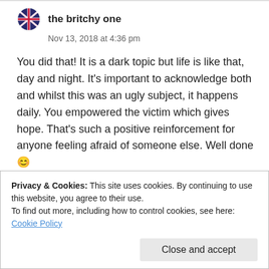[Figure (logo): UK flag / Britchy One avatar icon]
the britchy one
Nov 13, 2018 at 4:36 pm
You did that! It is a dark topic but life is like that, day and night. It's important to acknowledge both and whilst this was an ugly subject, it happens daily. You empowered the victim which gives hope. That's such a positive reinforcement for anyone feeling afraid of someone else. Well done 😊
★ Liked by 2 people
Privacy & Cookies: This site uses cookies. By continuing to use this website, you agree to their use.
To find out more, including how to control cookies, see here: Cookie Policy
Close and accept